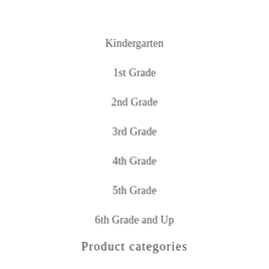Kindergarten
1st Grade
2nd Grade
3rd Grade
4th Grade
5th Grade
6th Grade and Up
Product categories